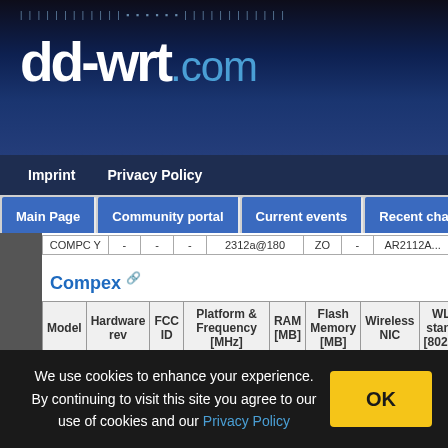dd-wrt.com
Imprint  Privacy Policy
Main Page  Community portal  Current events  Recent chan...
| Model | Hardware rev | FCC ID | Platform & Frequency [MHz] | RAM [MB] | Flash Memory [MB] | Wireless NIC | WLA standa [802.1... |
| --- | --- | --- | --- | --- | --- | --- | --- |
| NP18 | - | ? | Xscale IXP42X@266-533 | 32-128 | 4-32 | - | depen on ca |
Compex
We use cookies to enhance your experience. By continuing to visit this site you agree to our use of cookies and our Privacy Policy